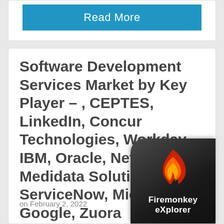Read More
Software Development Services Market by Key Player – , CEPTES, LinkedIn, Concur Technologies, Workday, IBM, Oracle, NetSuite, Medidata Solutions, ServiceNow, Microsoft, Google, Zuora
on February 2, 2022
[Figure (logo): Firemonkey eXplorer app icon — dark rounded square with flame logo and text 'Firemonkey eXplorer']